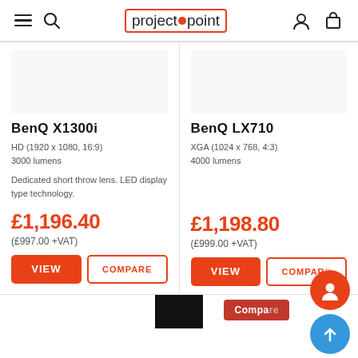projectorpoint
BenQ X1300i
HD (1920 x 1080, 16:9)
3000 lumens
Dedicated short throw lens. LED display type technology.
£1,196.40
(£997.00 +VAT)
BenQ LX710
XGA (1024 x 768, 4:3)
4000 lumens
£1,198.80
(£999.00 +VAT)